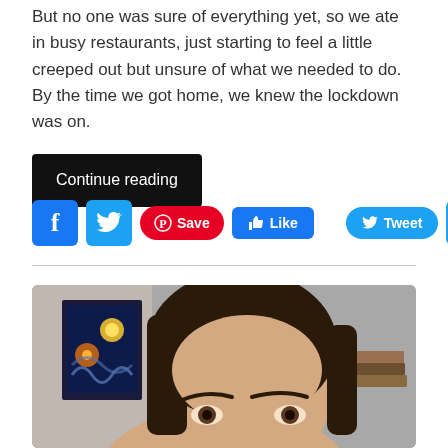But no one was sure of everything yet, so we ate in busy restaurants, just starting to feel a little creeped out but unsure of what we needed to do. By the time we got home, we knew the lockdown was on.
Continue reading
[Figure (screenshot): Social media sharing buttons: Facebook (blue square with f), Twitter (blue square with bird icon), Pinterest Save (red pill with P icon and Save text), Like (blue rectangle with thumbs up and Like text), Tweet (light blue pill with bird icon and Tweet text), Plus/share (blue square with + sign)]
[Figure (photo): Photo of a woman with dark brown hair cropped at the forehead level, looking slightly to the side. Behind her is a framed print of Van Gogh's Starry Night on the left and a grey wall. Some books are visible on the right side.]